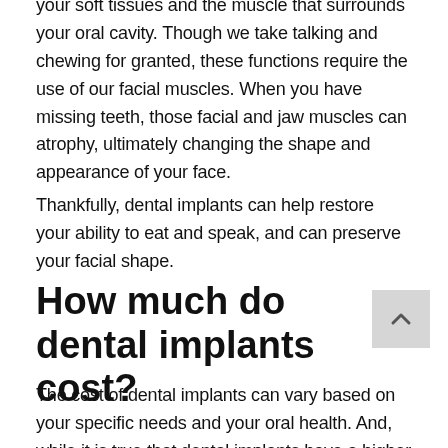your soft tissues and the muscle that surrounds your oral cavity. Though we take talking and chewing for granted, these functions require the use of our facial muscles. When you have missing teeth, those facial and jaw muscles can atrophy, ultimately changing the shape and appearance of your face.
Thankfully, dental implants can help restore your ability to eat and speak, and can preserve your facial shape.
How much do dental implants cost?
The cost of dental implants can vary based on your specific needs and your oral health. And, while it is true that dental implants have a higher up-front cost than other options to restore missing teeth, the cost